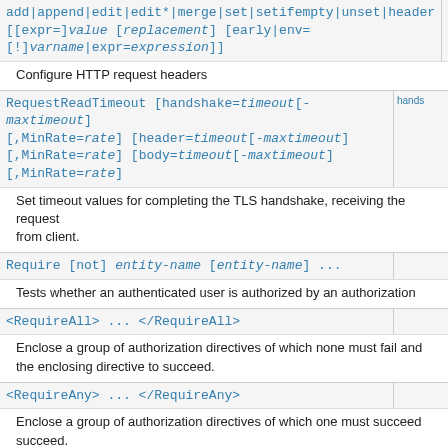add|append|edit|edit*|merge|set|setifempty|unset|header [[expr=]value [replacement] [early|env=[!]varname|expr=expression]]
Configure HTTP request headers
RequestReadTimeout [handshake=timeout[-maxtimeout][,MinRate=rate] [header=timeout[-maxtimeout][,MinRate=rate] [body=timeout[-maxtimeout][,MinRate=rate]
Set timeout values for completing the TLS handshake, receiving the request from client.
Require [not] entity-name [entity-name] ...
Tests whether an authenticated user is authorized by an authorization
<RequireAll> ... </RequireAll>
Enclose a group of authorization directives of which none must fail and at least one must succeed for the enclosing directive to succeed.
<RequireAny> ... </RequireAny>
Enclose a group of authorization directives of which one must succeed for the enclosing directive to succeed.
<RequireNone> ... </RequireNone>
Enclose a group of authorization directives of which none must succeed for the enclosing directive to not fail.
RewriteBase URL-path
Sets the base URL for per-directory rewrites
RewriteCond TestString CondPattern [flags]